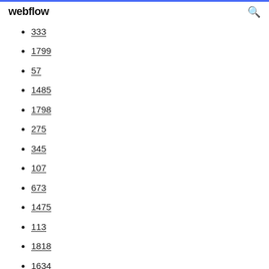webflow
333
1799
57
1485
1798
275
345
107
673
1475
113
1818
1634